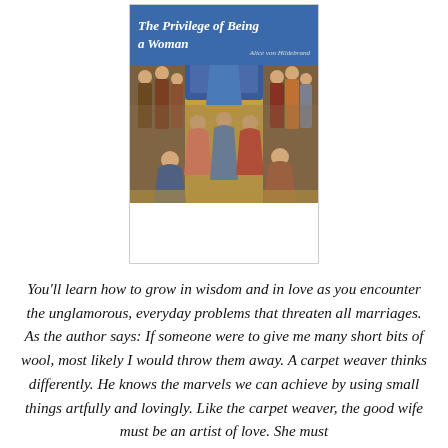[Figure (illustration): Book cover of 'The Privilege of Being a Woman' by Alice von Hildebrand. The upper portion shows a medieval religious painting (likely Fra Angelico's Coronation of the Virgin) depicting figures in colorful robes gathered around a central throne scene. The lower portion has a blue banner with the book title in italic white text and the author's name.]
You'll learn how to grow in wisdom and in love as you encounter the unglamorous, everyday problems that threaten all marriages. As the author says: If someone were to give me many short bits of wool, most likely I would throw them away. A carpet weaver thinks differently. He knows the marvels we can achieve by using small things artfully and lovingly. Like the carpet weaver, the good wife must be an artist of love. She must